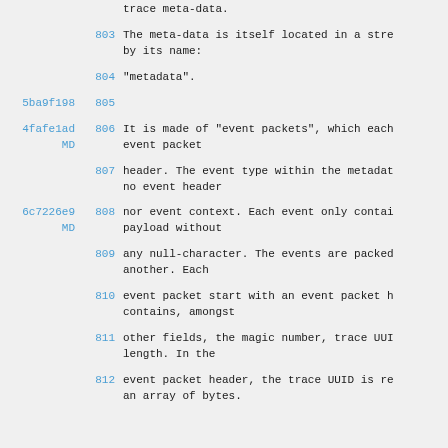trace meta-data.
803   The meta-data is itself located in a stre by its name:
804   "metadata".
5ba9f198 805
4fafe1ad 806   It is made of "event packets", which each event packet
807   header. The event type within the metadat no event header
6c7226e9 808   nor event context. Each event only contai payload without
809   any null-character. The events are packed another. Each
810   event packet start with an event packet h contains, amongst
811   other fields, the magic number, trace UUI length. In the
812   event packet header, the trace UUID is re an array of bytes.